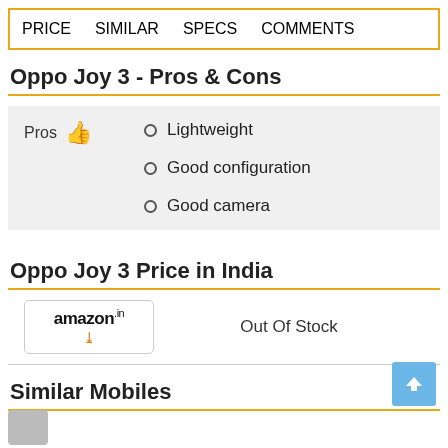PRICE  SIMILAR  SPECS  COMMENTS
Oppo Joy 3 - Pros & Cons
Lightweight
Good configuration
Good camera
Oppo Joy 3 Price in India
Out Of Stock
Similar Mobiles